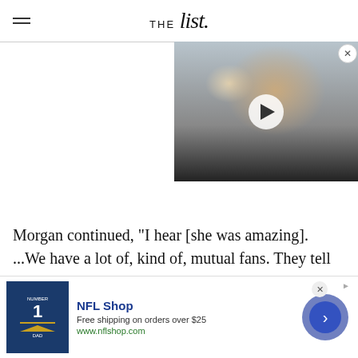THE List
[Figure (photo): Video thumbnail showing a dark-haired woman with a play button overlay, positioned in the upper right of the page]
Morgan continued, "I hear [she was amazing]. ...We have a lot of, kind of, mutual fans. They tell me how great she was, but you gotta understand that I'm a little bit older than she is. So I think when One Tree
[Figure (other): NFL Shop advertisement banner with football jersey image, showing 'Free shipping on orders over $25' and 'www.nflshop.com']